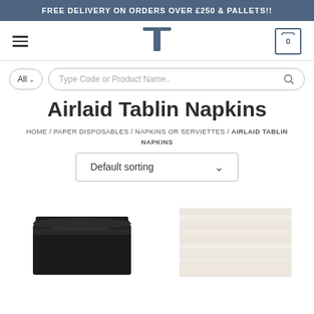FREE DELIVERY ON ORDERS OVER £250 & PALLETS!!
[Figure (logo): T logo and hamburger menu and cart icon navigation bar]
[Figure (screenshot): Search bar with All dropdown and Type Code or Product Name.. placeholder]
Airlaid Tablin Napkins
HOME / PAPER DISPOSABLES / NAPKINS OR SERVIETTES / AIRLAID TABLIN NAPKINS
Default sorting
[Figure (photo): Black airlaid tablin napkins stacked on the left, white airlaid tablin napkins stacked on the right]